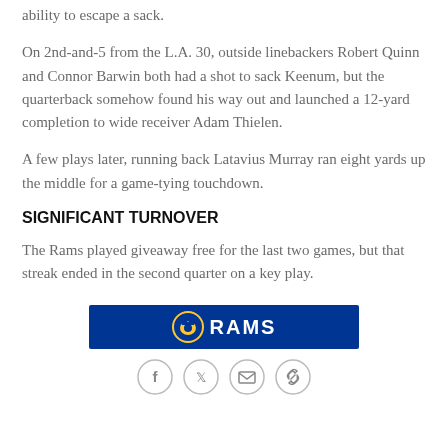ability to escape a sack.
On 2nd-and-5 from the L.A. 30, outside linebackers Robert Quinn and Connor Barwin both had a shot to sack Keenum, but the quarterback somehow found his way out and launched a 12-yard completion to wide receiver Adam Thielen.
A few plays later, running back Latavius Murray ran eight yards up the middle for a game-tying touchdown.
SIGNIFICANT TURNOVER
The Rams played giveaway free for the last two games, but that streak ended in the second quarter on a key play.
[Figure (logo): Los Angeles Rams logo banner — dark blue background with gold ram horn logo and RAMS text in white]
[Figure (infographic): Social media sharing icons: Facebook, Twitter, email, and link/copy icons in circular outlines]